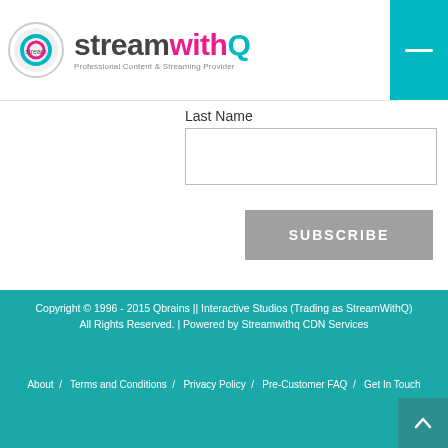[Figure (logo): StreamWithQ logo — circular icon on left, brand name 'streamwithQ' in bold with colored letters, tagline 'Professional Content & Streaming Provider']
Last Name
SUBSCRIBE
Copyright © 1996 - 2015 Qbrains || Interactive Studios (Trading as StreamWithQ)
All Rights Reserved. | Powered by Streamwithq CDN Services
About / Terms and Conditions / Privacy Policy / Pre-Customer FAQ / Get In Touch